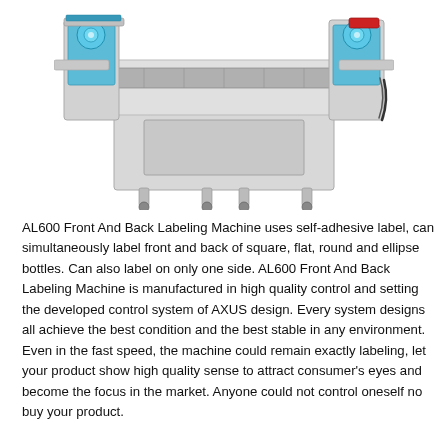[Figure (photo): AL600 Front And Back Labeling Machine — a stainless steel industrial labeling machine with conveyor belt, label applicator arms on both sides, blue-accented label rolls, and wheeled base.]
AL600 Front And Back Labeling Machine uses self-adhesive label, can simultaneously label front and back of square, flat, round and ellipse bottles. Can also label on only one side. AL600 Front And Back Labeling Machine is manufactured in high quality control and setting the developed control system of AXUS design. Every system designs all achieve the best condition and the best stable in any environment. Even in the fast speed, the machine could remain exactly labeling, let your product show high quality sense to attract consumer's eyes and become the focus in the market. Anyone could not control oneself no buy your product.